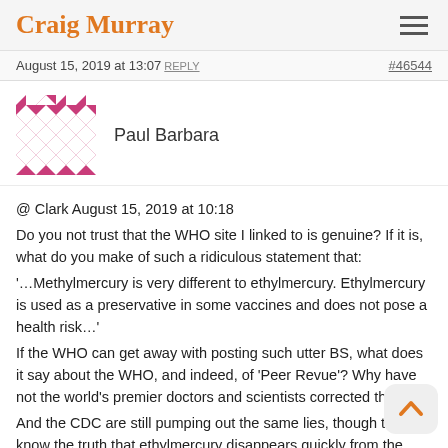Craig Murray
August 15, 2019 at 13:07 REPLY   #46544
Paul Barbara
[Figure (illustration): User avatar: a geometric pink and white pattern in a square grid.]
@ Clark August 15, 2019 at 10:18
Do you not trust that the WHO site I linked to is genuine? If it is, what do you make of such a ridiculous statement that:
'…Methylmercury is very different to ethylmercury. Ethylmercury is used as a preservative in some vaccines and does not pose a health risk…'
If the WHO can get away with posting such utter BS, what does it say about the WHO, and indeed, of 'Peer Revue'? Why have not the world's premier doctors and scientists corrected them?
And the CDC are still pumping out the same lies, though they know the truth that ethylmercury disappears quickly from the blood because it passes easily through the blood/brain barrier